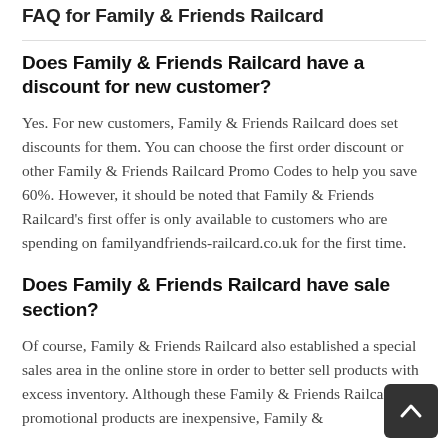FAQ for Family & Friends Railcard
Does Family & Friends Railcard have a discount for new customer?
Yes. For new customers, Family & Friends Railcard does set discounts for them. You can choose the first order discount or other Family & Friends Railcard Promo Codes to help you save 60%. However, it should be noted that Family & Friends Railcard's first offer is only available to customers who are spending on familyandfriends-railcard.co.uk for the first time.
Does Family & Friends Railcard have sale section?
Of course, Family & Friends Railcard also established a special sales area in the online store in order to better sell products with excess inventory. Although these Family & Friends Railcard promotional products are inexpensive, Family &